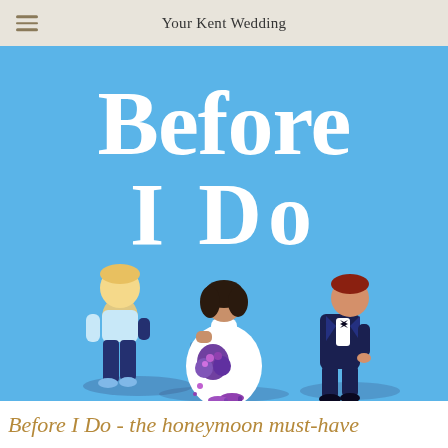Your Kent Wedding
[Figure (illustration): Book cover for 'Before I Do' showing a blue background with large white bold serif text reading 'Before I Do'. Three illustrated figures: a blonde person in casual clothes on the left looking away, a bride in a white dress seated in the center holding purple flowers, and a red-haired man in a dark suit on the right walking away.]
Before I Do - the honeymoon must-have